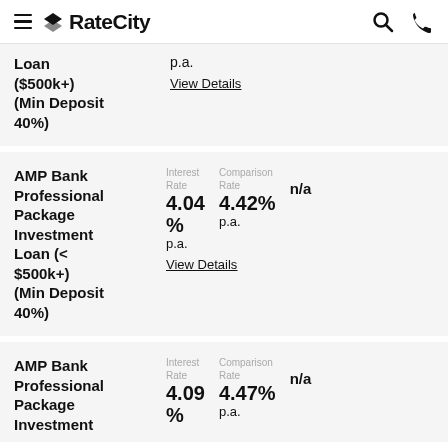RateCity
Loan ($500k+) (Min Deposit 40%) — p.a. — View Details
| Product | Interest Rate | Comparison Rate |  |
| --- | --- | --- | --- |
| AMP Bank Professional Package Investment Loan (< $500k+) (Min Deposit 40%) | 4.04% p.a. | 4.42% p.a. | n/a |
| AMP Bank Professional Package Investment | 4.09% p.a. | 4.47% p.a. | n/a |